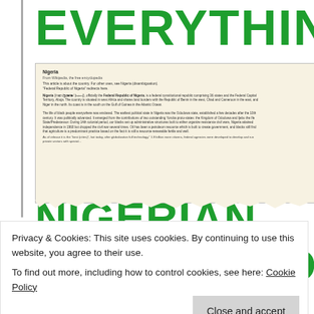[Figure (illustration): Book cover showing the text 'EVERYTHING IN NIGERIAN IS GOING TO KILL YOU' in large bold green, red, and dark letters, with a Nigerian government document overlay and Nigerian flag emblem. Below is a partial greyed-out text reading 'THE PARADOXICAL LIFESTYLE OF THE AVERAGE NIGERIAN IN THE SLUMS OF THIS BOOK...']
Privacy & Cookies: This site uses cookies. By continuing to use this website, you agree to their use. To find out more, including how to control cookies, see here: Cookie Policy
Close and accept